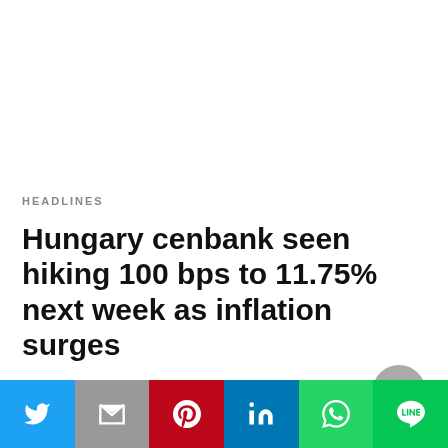HEADLINES
Hungary cenbank seen hiking 100 bps to 11.75% next week as inflation surges
By Krisztina Than BUDAPEST (Reuters) - Hungary's central bank is expected to raise its base…
1 day ago
[Figure (infographic): Social sharing bar with icons for Twitter, Gmail, Pinterest, LinkedIn, WhatsApp, and LINE]